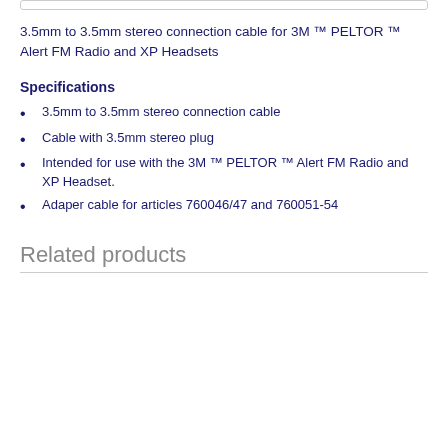3.5mm to 3.5mm stereo connection cable for 3M ™ PELTOR ™ Alert FM Radio and XP Headsets
Specifications
3.5mm to 3.5mm stereo connection cable
Cable with 3.5mm stereo plug
Intended for use with the 3M ™ PELTOR ™ Alert FM Radio and XP Headset.
Adaper cable for articles 760046/47 and 760051-54
Related products